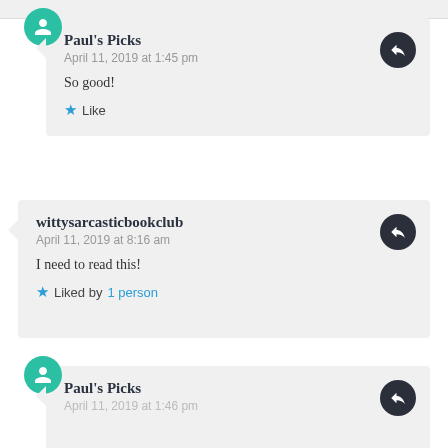Paul's Picks
April 11, 2019 at 1:45 pm
So good!
Like
wittysarcasticbookclub
April 11, 2019 at 8:16 am
I need to read this!
Liked by 1 person
Paul's Picks
April 11, 2019 at 1:46 pm